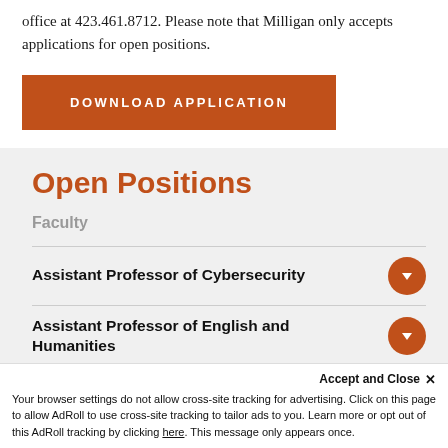office at 423.461.8712. Please note that Milligan only accepts applications for open positions.
[Figure (other): Orange button with text DOWNLOAD APPLICATION]
Open Positions
Faculty
Assistant Professor of Cybersecurity
Assistant Professor of English and Humanities
Accept and Close ✕ Your browser settings do not allow cross-site tracking for advertising. Click on this page to allow AdRoll to use cross-site tracking to tailor ads to you. Learn more or opt out of this AdRoll tracking by clicking here. This message only appears once.